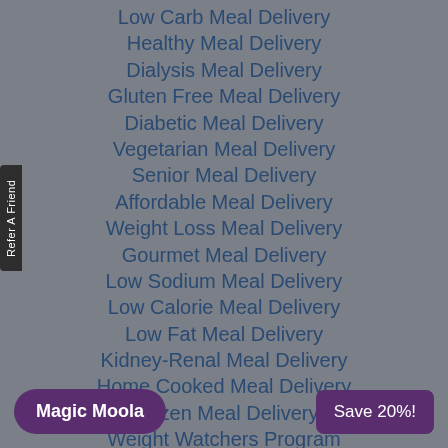Low Carb Meal Delivery
Healthy Meal Delivery
Dialysis Meal Delivery
Gluten Free Meal Delivery
Diabetic Meal Delivery
Vegetarian Meal Delivery
Senior Meal Delivery
Affordable Meal Delivery
Weight Loss Meal Delivery
Gourmet Meal Delivery
Low Sodium Meal Delivery
Low Calorie Meal Delivery
Low Fat Meal Delivery
Kidney-Renal Meal Delivery
Home Cooked Meal Delivery
Frozen Meal Delivery
Weight Watchers Program